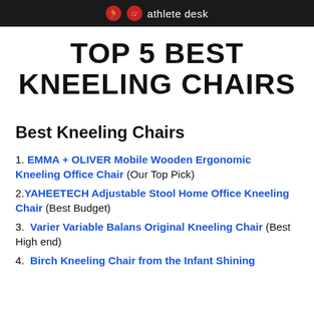athlete desk
TOP 5 BEST KNEELING CHAIRS
Best Kneeling Chairs
1. EMMA + OLIVER Mobile Wooden Ergonomic Kneeling Office Chair (Our Top Pick)
2. YAHEETECH Adjustable Stool Home Office Kneeling Chair (Best Budget)
3. Varier Variable Balans Original Kneeling Chair (Best High end)
4. Birch Kneeling Chair from the Infant Shining